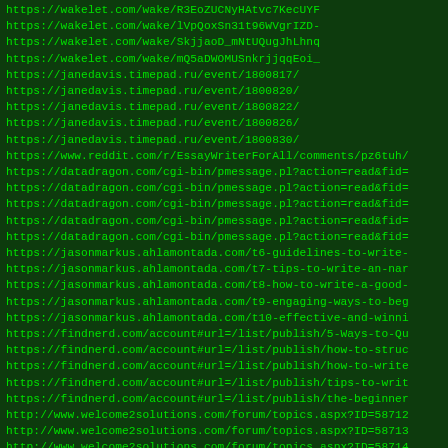List of URLs including wakelet.com, janedavis.timepad.ru, reddit.com, datadragon.com, jasonmarkus.ahlamontada.com, findnerd.com, welcome2solutions.com forum links